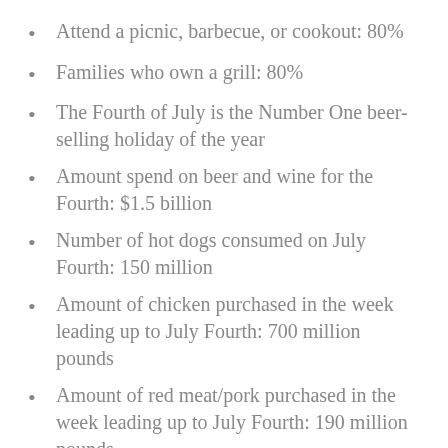Attend a picnic, barbecue, or cookout: 80%
Families who own a grill: 80%
The Fourth of July is the Number One beer-selling holiday of the year
Amount spend on beer and wine for the Fourth: $1.5 billion
Number of hot dogs consumed on July Fourth: 150 million
Amount of chicken purchased in the week leading up to July Fourth: 700 million pounds
Amount of red meat/pork purchased in the week leading up to July Fourth: 190 million pounds
Number of people in the U.S. who rate mustard their #1 condiment: 71%